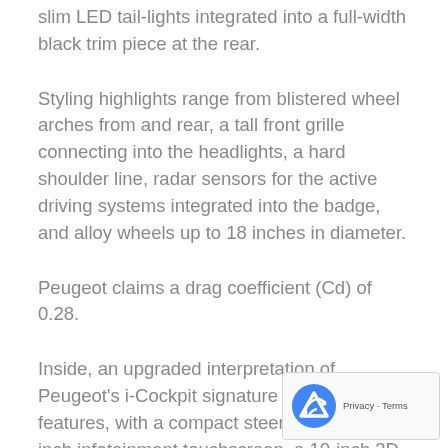slim LED tail-lights integrated into a full-width black trim piece at the rear.
Styling highlights range from blistered wheel arches from and rear, a tall front grille connecting into the headlights, a hard shoulder line, radar sensors for the active driving systems integrated into the badge, and alloy wheels up to 18 inches in diameter.
Peugeot claims a drag coefficient (Cd) of 0.28.
Inside, an upgraded interpretation of Peugeot's i-Cockpit signature cabin layout features, with a compact steering wheel, 10-inch infotainment touchscreen, a 10-inch 3D digital instrument cluster, and a slim touchscreen below the main display providing an array of shortcuts to key